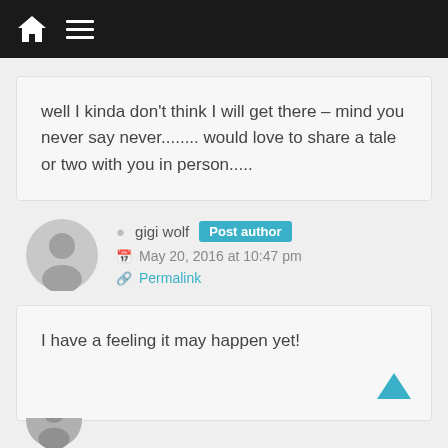[Figure (screenshot): Website navigation bar with home icon and hamburger menu icon on dark background]
well I kinda don't think I will get there – mind you never say never........ would love to share a tale or two with you in person.....
gigi wolf Post author
May 20, 2016 at 10:47 pm
Permalink
I have a feeling it may happen yet!